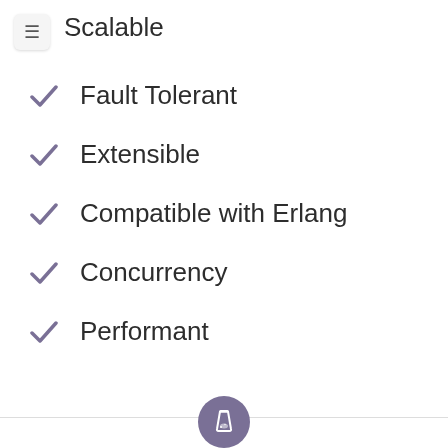Scalable
Fault Tolerant
Extensible
Compatible with Erlang
Concurrency
Performant